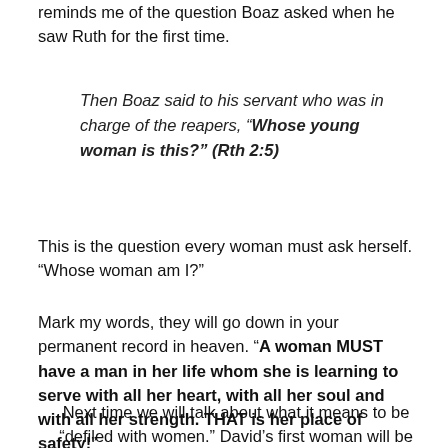reminds me of the question Boaz asked when he saw Ruth for the first time.
Then Boaz said to his servant who was in charge of the reapers, “Whose young woman is this?” (Rth 2:5)
This is the question every woman must ask herself. “Whose woman am I?”
Mark my words, they will go down in your permanent record in heaven. “A woman MUST have a man in her life whom she is learning to serve with all her heart, with all her soul and with all her strength. THAT is her place of safety!”
Next time we will talk about what it means to be “defiled with women.” David’s first woman will be used for an example of a woman who tried to defile him; I love his